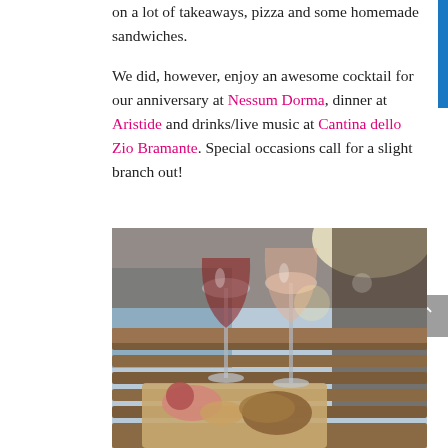on a lot of takeaways, pizza and some homemade sandwiches.
We did, however, enjoy an awesome cocktail for our anniversary at Nessum Dorma, dinner at Aristide and drinks/live music at Cantina dello Zio Bramante. Special occasions call for a slight branch out!
[Figure (photo): Two wine glasses on a wooden slatted table outdoors — one with red wine, one with rosé — alongside a wooden board with charcuterie, cheese, and bread. A person's arm is visible in the background near water.]